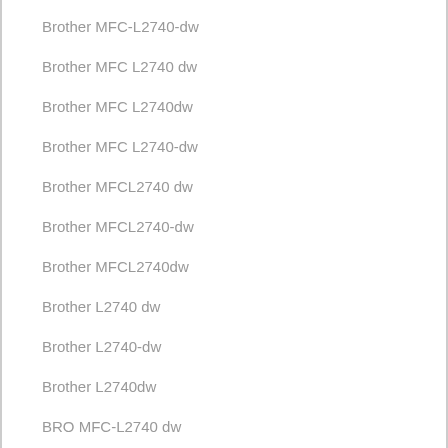Brother MFC-L2740-dw
Brother MFC L2740 dw
Brother MFC L2740dw
Brother MFC L2740-dw
Brother MFCL2740 dw
Brother MFCL2740-dw
Brother MFCL2740dw
Brother L2740 dw
Brother L2740-dw
Brother L2740dw
BRO MFC-L2740 dw